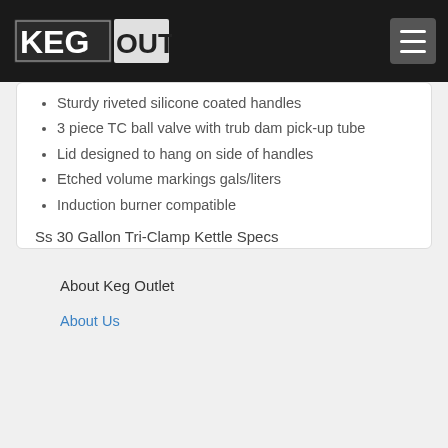KEG OUTLET
Sturdy riveted silicone coated handles
3 piece TC ball valve with trub dam pick-up tube
Lid designed to hang on side of handles
Etched volume markings gals/liters
Induction burner compatible
Ss 30 Gallon Tri-Clamp Kettle Specs
304 Stainless Steel
31.1 gallon capacity
19.7" Diameter
23.7" Height
About Keg Outlet
About Us